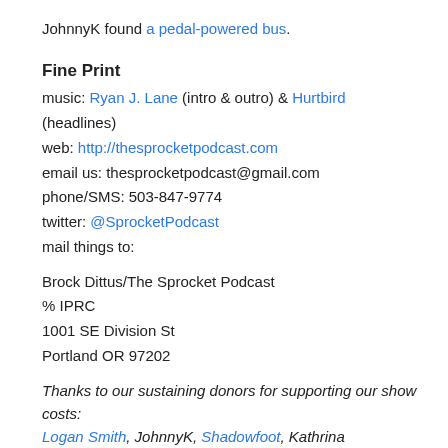JohnnyK found a pedal-powered bus.
Fine Print
music: Ryan J. Lane (intro & outro) & Hurtbird (headlines)
web: http://thesprocketpodcast.com
email us: thesprocketpodcast@gmail.com
phone/SMS: 503-847-9774
twitter: @SprocketPodcast
mail things to:
Brock Dittus/The Sprocket Podcast
% IPRC
1001 SE Division St
Portland OR 97202
Thanks to our sustaining donors for supporting our show costs:
Logan Smith, JohnnyK, Shadowfoot, Kathrina